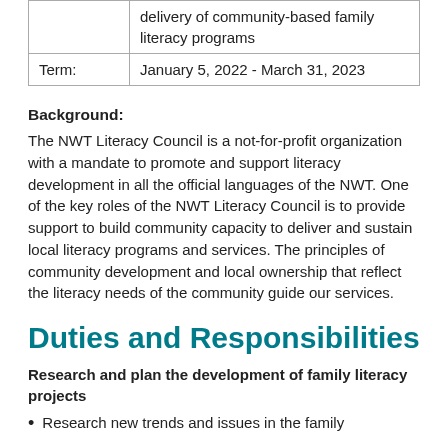|  | delivery of community-based family literacy programs |
| Term: | January 5, 2022 - March 31, 2023 |
Background:
The NWT Literacy Council is a not-for-profit organization with a mandate to promote and support literacy development in all the official languages of the NWT. One of the key roles of the NWT Literacy Council is to provide support to build community capacity to deliver and sustain local literacy programs and services. The principles of community development and local ownership that reflect the literacy needs of the community guide our services.
Duties and Responsibilities
Research and plan the development of family literacy projects
Research new trends and issues in the family